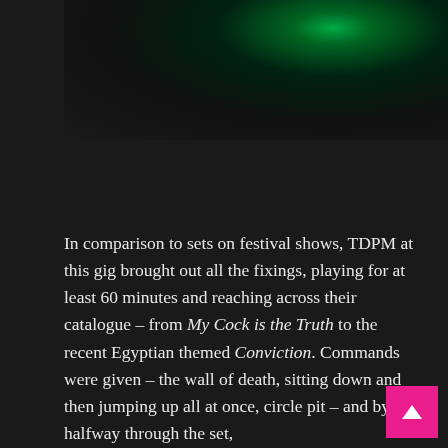[Figure (photo): Dark concert/gig photo with green lighting visible at the top, mostly black/dark background suggesting a live music venue at night]
In comparison to sets on festival shows, TDPM at this gig brought out all the fixings, playing for at least 60 minutes and reaching across their catalogue – from My Cock is the Truth to the recent Egyptian themed Conviction. Commands were given – the wall of death, sitting down and then jumping up all at once, circle pit – and by halfway through the set,